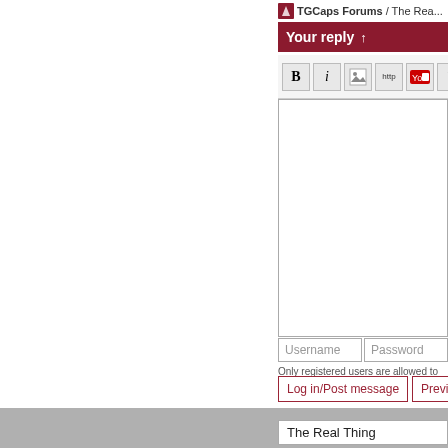TGCaps Forums / The Rea...
Your reply ↑
[Figure (screenshot): Forum reply toolbar with formatting buttons: B (bold), I (italic), image, http (link), YouTube, and another button]
[Figure (screenshot): Empty text area for composing a reply]
Username   Password
Only registered users are allowed to p...
Log in/Post message   Preview...
The Real Thing
TGCaps claims...